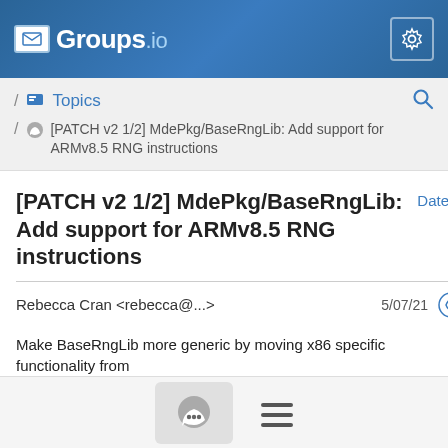Groups.io
/ Topics / [PATCH v2 1/2] MdePkg/BaseRngLib: Add support for ARMv8.5 RNG instructions
[PATCH v2 1/2] MdePkg/BaseRngLib: Add support for ARMv8.5 RNG instructions
Rebecca Cran <rebecca@...>  5/07/21
Make BaseRngLib more generic by moving x86 specific functionality from
BaseRng.c into Rand/RdRand.c, and adding AArch64/Rndr.c, which supports
the optional ARMv8.5 RNG instructions RNDR and RNDRRS that